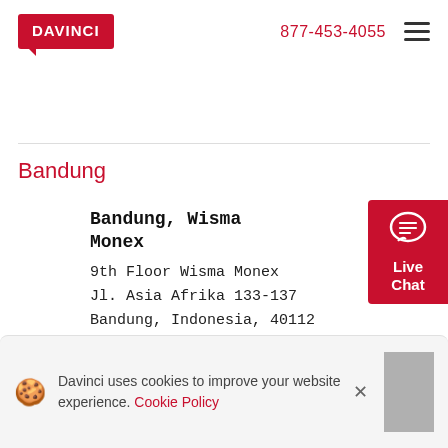DAVINCI  877-453-4055
Bandung
Bandung, Wisma Monex
9th Floor Wisma Monex
Jl. Asia Afrika 133-137
Bandung, Indonesia, 40112
Mon-Fri, 8:30 AM-5:00 PM
Details  See on map
Davinci uses cookies to improve your website experience. Cookie Policy